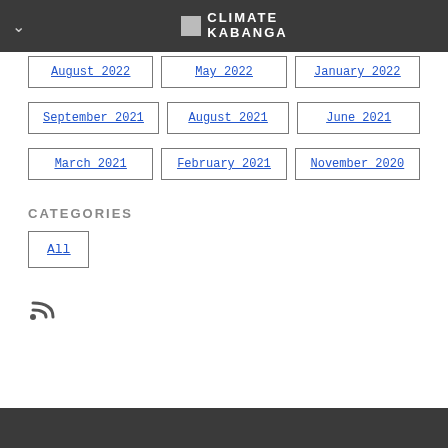CLIMATE KABANGA
August 2022
May 2022
January 2022
September 2021
August 2021
June 2021
March 2021
February 2021
November 2020
CATEGORIES
All
[Figure (other): RSS feed icon]